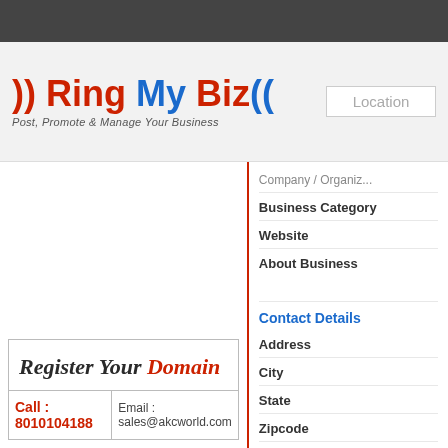[Figure (logo): Ring My Biz logo with tagline 'Post, Promote & Manage Your Business']
Location
Company / Organiz...
Business Category
Website
About Business
[Figure (infographic): Register Your Domain advertisement banner with call and email contact details]
Contact Details
Address
City
State
Zipcode